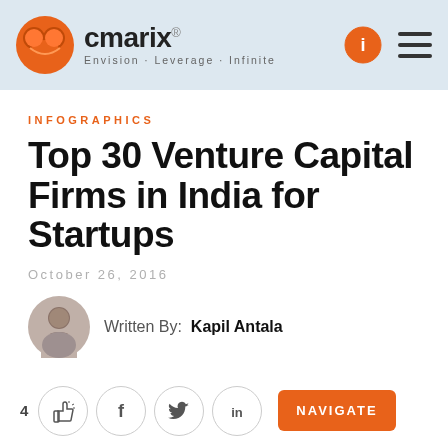cmarix® — Envision · Leverage · Infinite
INFOGRAPHICS
Top 30 Venture Capital Firms in India for Startups
October 26, 2016
Written By:  Kapil Antala